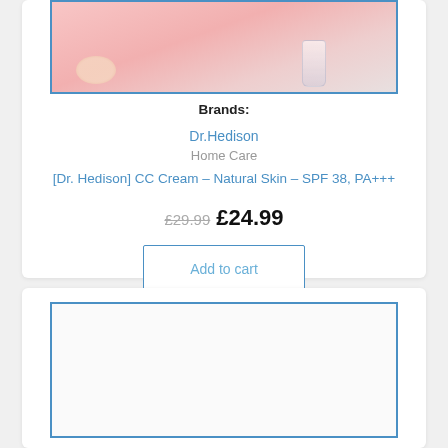[Figure (photo): Product photo showing cosmetic items on a pink background — a small pink/peach object and a clear glass/plastic bottle]
Brands:
Dr.Hedison
Home Care
[Dr. Hedison] CC Cream – Natural Skin – SPF 38, PA+++
£29.99  £24.99
Add to cart
[Figure (photo): Partial product image (second product card, image cropped at bottom of page)]